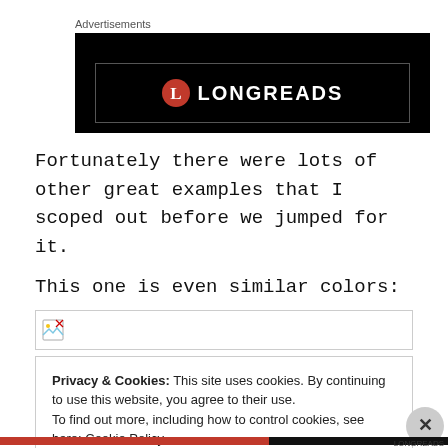Advertisements
[Figure (logo): Longreads advertisement banner with black background, inner border, and Longreads logo (red circle with L, white bold text LONGREADS)]
Fortunately there were lots of other great examples that I scoped out before we jumped for it.
This one is even similar colors:
[Figure (other): Broken image placeholder icon inside a bordered box]
Privacy & Cookies: This site uses cookies. By continuing to use this website, you agree to their use. To find out more, including how to control cookies, see here: Cookie Policy. Close and accept